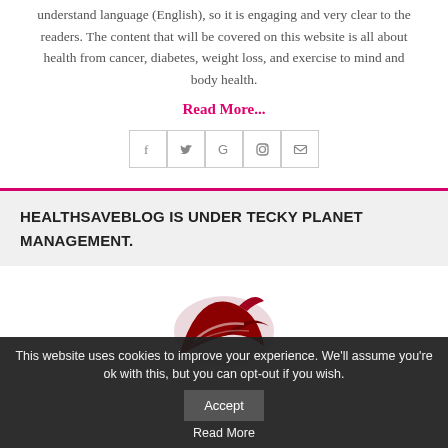understand language (English), so it is engaging and very clear to the readers. The content that will be covered on this website is all about health from cancer, diabetes, weight loss, and exercise to mind and body health.
Read More...
[Figure (other): Social media icon buttons: Facebook, Twitter, Google, Instagram, Email]
HEALTHSAVEBLOG IS UNDER TECKY PLANET MANAGEMENT.
[Figure (logo): Red/dark red bird or phoenix logo mark, partially visible]
This website uses cookies to improve your experience. We'll assume you're ok with this, but you can opt-out if you wish. Accept Read More